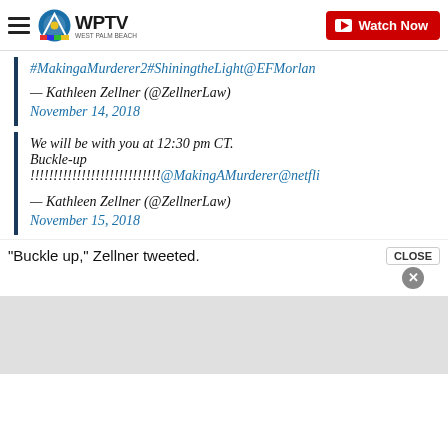WPTV West Palm Beach — Watch Now
#MakingaMurderer2#ShiningtheLight@EFMorlan…
— Kathleen Zellner (@ZellnerLaw)
November 14, 2018
We will be with you at 12:30 pm CT. Buckle-up !!!!!!!!!!!!!!!!!!!!!!!!!!!@MakingAMurderer@netfli…
— Kathleen Zellner (@ZellnerLaw)
November 15, 2018
"Buckle up," Zellner tweeted.